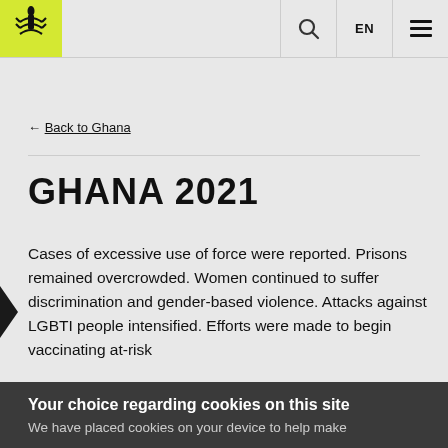Amnesty International — EN
← Back to Ghana
GHANA 2021
Cases of excessive use of force were reported. Prisons remained overcrowded. Women continued to suffer discrimination and gender-based violence. Attacks against LGBTI people intensified. Efforts were made to begin vaccinating at-risk
Your choice regarding cookies on this site
We have placed cookies on your device to help make